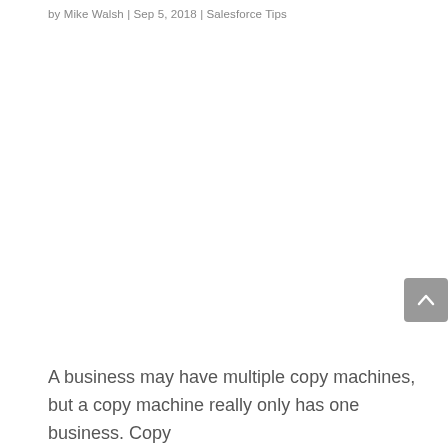by Mike Walsh | Sep 5, 2018 | Salesforce Tips
A business may have multiple copy machines, but a copy machine really only has one business. Copy